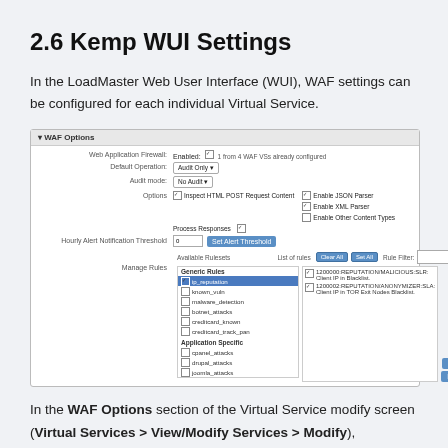2.6 Kemp WUI Settings
In the LoadMaster Web User Interface (WUI), WAF settings can be configured for each individual Virtual Service.
[Figure (screenshot): WAF Options configuration panel showing Web Application Firewall settings including Default Operation (Audit Only), Audit mode (No Audit), Options checkboxes for JSON Parser, XML Parser, Other Content Types, Process Responses, Hourly Alert Notification Threshold input, and Manage Rules section with Available Rulesets (Generic Rules: ip_reputation selected, known_vuln, malware_detection, botnet_attacks, creditcard_known, creditcard_track_pan; Application Specific: cpanel_attacks, drupal_attacks, joomla_attacks, mods_attacks, netcat_attacks) and List of rules panel showing two rules about REPUTATION/MALICIOUS SLR and REPUTATION/ANONYMIZER SLR, with Apply and Reset buttons.]
In the WAF Options section of the Virtual Service modify screen (Virtual Services > View/Modify Services > Modify),